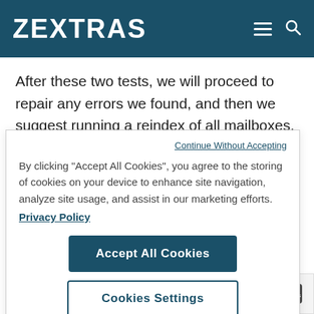ZEXTRAS
After these two tests, we will proceed to repair any errors we found, and then we suggest running a reindex of all mailboxes.
Continue Without Accepting
By clicking “Accept All Cookies”, you agree to the storing of cookies on your device to enhance site navigation, analyze site usage, and assist in our marketing efforts.
Privacy Policy
Accept All Cookies
Cookies Settings
Terms